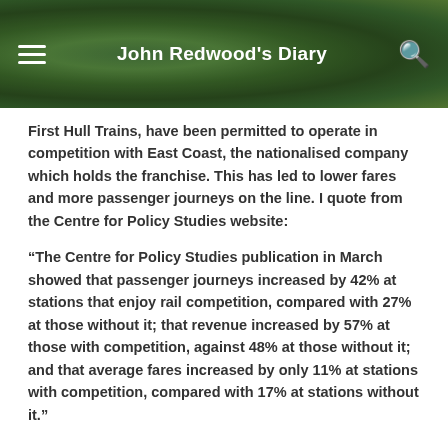John Redwood's Diary
First Hull Trains, have been permitted to operate in competition with East Coast, the nationalised company which holds the franchise. This has led to lower fares and more passenger journeys on the line. I quote from the Centre for Policy Studies website:
“The Centre for Policy Studies publication in March showed that passenger journeys increased by 42% at stations that enjoy rail competition, compared with 27% at those without it; that revenue increased by 57% at those with competition, against 48% at those without it; and that average fares increased by only 11% at stations with competition, compared with 17% at stations without it.”